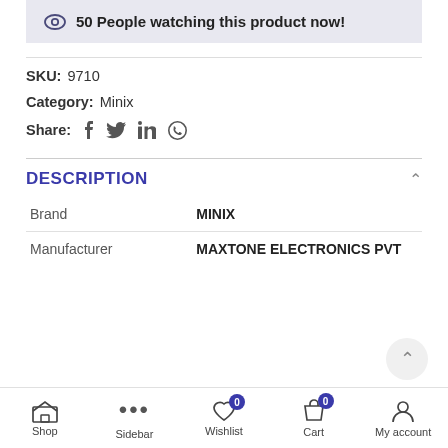👁 50 People watching this product now!
SKU: 9710
Category: Minix
Share: f 🐦 in 💬
DESCRIPTION
| Brand | Manufacturer |
| --- | --- |
| Brand | MINIX |
| Manufacturer | MAXTONE ELECTRONICS PVT |
Shop | Sidebar | Wishlist 0 | Cart 0 | My account